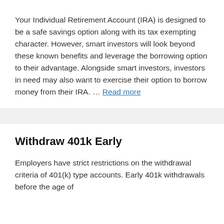Your Individual Retirement Account (IRA) is designed to be a safe savings option along with its tax exempting character. However, smart investors will look beyond these known benefits and leverage the borrowing option to their advantage. Alongside smart investors, investors in need may also want to exercise their option to borrow money from their IRA. … Read more
Withdraw 401k Early
Employers have strict restrictions on the withdrawal criteria of 401(k) type accounts. Early 401k withdrawals before the age of